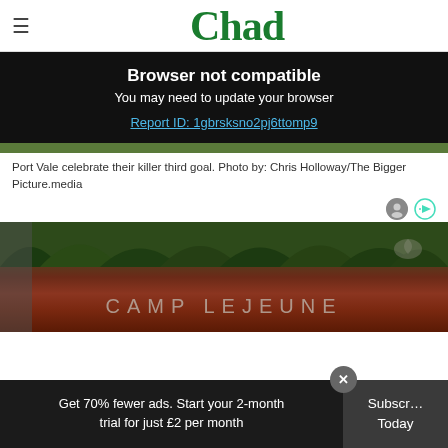Chad
Browser not compatible
You may need to update your browser
Report ID: 1gbrsksno2pj6ttomp9
Port Vale celebrate their killer third goal. Photo by: Chris Holloway/The Bigger Picture.media
[Figure (photo): Camp Lejeune sign with trees in background and red stone/brick wall]
Get 70% fewer ads. Start your 2-month trial for just £2 per month